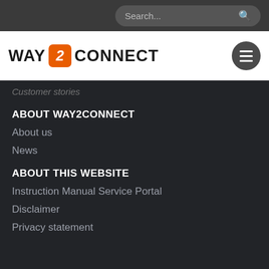Search...
[Figure (logo): Way2Connect logo with orange '2' badge between WAY and CONNECT text]
Customer stories
ABOUT WAY2CONNECT
About us
News
ABOUT THIS WEBSITE
Instruction Manual Service Portal
Disclaimer
Privacy statement